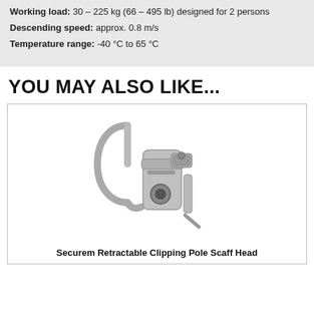Length: descent height max. 900 m (985 ft)
Working load: 30 – 225 kg (66 – 495 lb) designed for 2 persons
Descending speed: approx. 0.8 m/s
Temperature range: -40 °C to 65 °C
YOU MAY ALSO LIKE...
[Figure (photo): Securem Retractable Clipping Pole Scaff Head — a metal carabiner-style scaffolding pole head with a large J-hook and locking mechanism, shown in silver/grey metal finish]
Securem Retractable Clipping Pole Scaff Head